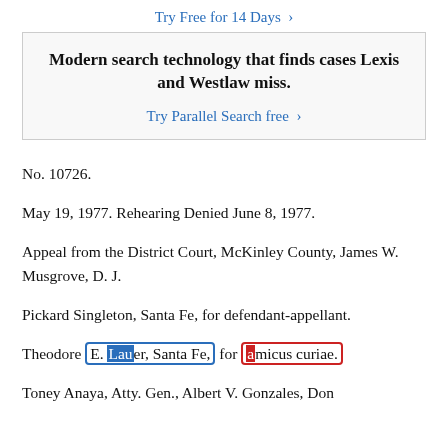Try Free for 14 Days >
[Figure (other): Advertisement box: 'Modern search technology that finds cases Lexis and Westlaw miss. Try Parallel Search free >']
No. 10726.
May 19, 1977. Rehearing Denied June 8, 1977.
Appeal from the District Court, McKinley County, James W. Musgrove, D. J.
Pickard Singleton, Santa Fe, for defendant-appellant.
Theodore E. Lauer, Santa Fe, for amicus curiae.
Toney Anaya, Atty. Gen., Albert V. Gonzales, Don